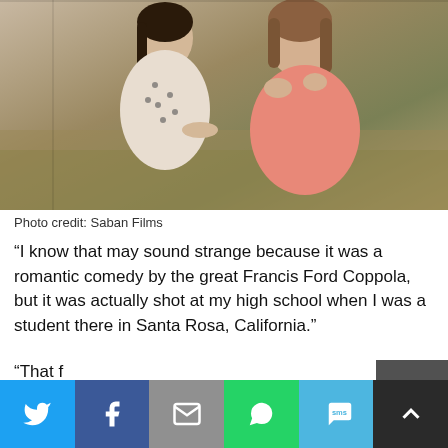[Figure (photo): Two women outdoors, one in a polka-dot top comforting another in a pink top who appears distressed, with dry brush/field in background. Film still from The Haunting of Sharon Tate.]
Photo credit: Saban Films
“I know that may sound strange because it was a romantic comedy by the great Francis Ford Coppola, but it was actually shot at my high school when I was a student there in Santa Rosa, California.”
He says the central question of Peggy Sue Got Married is the same as The Haunting of Sharon Tate: if we know our fate, can we re-write our own story?
[Figure (infographic): Social sharing toolbar with Twitter, Facebook, Email, WhatsApp, SMS, and scroll-up buttons]